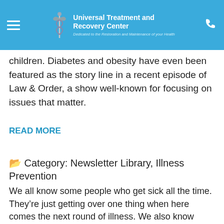Universal Treatment and Recovery Center — Dedicated to the Restoration and Maintenance of your Health
children. Diabetes and obesity have even been featured as the story line in a recent episode of Law & Order, a show well-known for focusing on issues that matter.
READ MORE
Category: Newsletter Library, Illness Prevention
We all know some people who get sick all the time. They're just getting over one thing when here comes the next round of illness. We also know people who just seem to be full of energy. Those people never get sick or so it seems. What are the key differences between these North and South